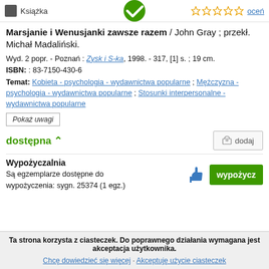[Figure (screenshot): Green checkmark icon at top of page]
Książka
oceń (star ratings)
Marsjanie i Wenusjanki zawsze razem / John Gray ; przekł. Michał Madaliński.
Wyd. 2 popr. - Poznań : Zysk i S-ka, 1998. - 317, [1] s. ; 19 cm.
ISBN: : 83-7150-430-6
Temat: Kobieta - psychologia - wydawnictwa popularne ; Mężczyzna - psychologia - wydawnictwa popularne ; Stosunki interpersonalne - wydawnictwa popularne
Pokaż uwagi
dostępna
dodaj
Wypożyczalnia
Są egzemplarze dostępne do wypożyczenia: sygn. 25374 (1 egz.)
wypożycz
Ta strona korzysta z ciasteczek. Do poprawnego działania wymagana jest akceptacja użytkownika.
Chcę dowiedzieć się więcej · Akceptuję użycie ciasteczek